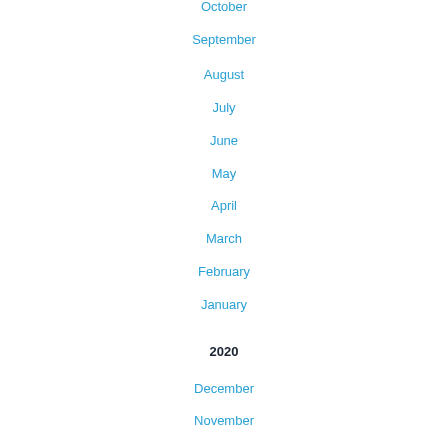October
September
August
July
June
May
April
March
February
January
2020
December
November
October
September